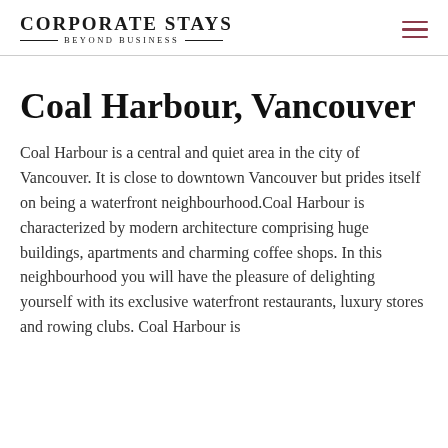Corporate Stays Beyond Business
Coal Harbour, Vancouver
Coal Harbour is a central and quiet area in the city of Vancouver. It is close to downtown Vancouver but prides itself on being a waterfront neighbourhood.Coal Harbour is characterized by modern architecture comprising huge buildings, apartments and charming coffee shops. In this neighbourhood you will have the pleasure of delighting yourself with its exclusive waterfront restaurants, luxury stores and rowing clubs. Coal Harbour is